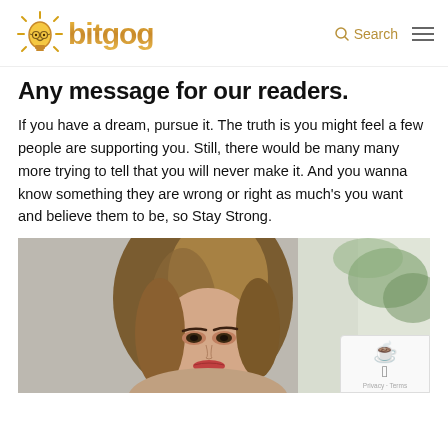bitgog — Search
Any message for our readers.
If you have a dream, pursue it. The truth is you might feel a few people are supporting you. Still, there would be many many more trying to tell that you will never make it. And you wanna know something they are wrong or right as much's you want and believe them to be, so Stay Strong.
[Figure (photo): Portrait photo of a woman with long highlighted hair, wearing makeup, photographed indoors with green foliage visible in the background.]